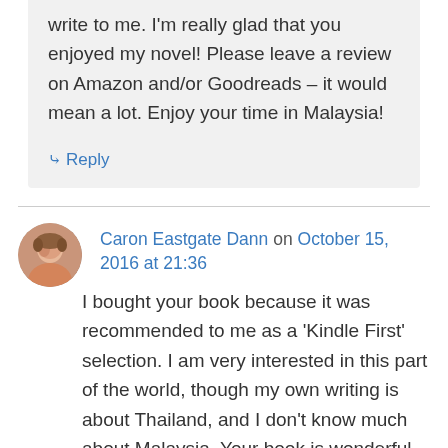write to me. I'm really glad that you enjoyed my novel! Please leave a review on Amazon and/or Goodreads – it would mean a lot. Enjoy your time in Malaysia!
↳ Reply
Caron Eastgate Dann on October 15, 2016 at 21:36
I bought your book because it was recommended to me as a 'Kindle First' selection. I am very interested in this part of the world, though my own writing is about Thailand, and I don't know much about Malaysia. Your book is wonderful—it transports me to different times and places, and I am thinking about the story even when I am not reading it. I love the way you